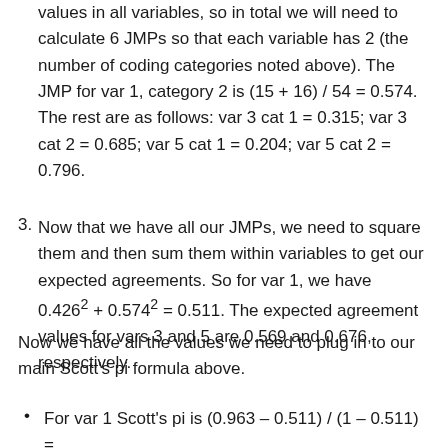values in all variables, so in total we will need to calculate 6 JMPs so that each variable has 2 (the number of coding categories noted above). The JMP for var 1, category 2 is (15 + 16) / 54 = 0.574. The rest are as follows: var 3 cat 1 = 0.315; var 3 cat 2 = 0.685; var 5 cat 1 = 0.204; var 5 cat 2 = 0.796.
Now that we have all our JMPs, we need to square them and then sum them within variables to get our expected agreements. So for var 1, we have 0.426² + 0.574² = 0.511. The expected agreement values for vars 3 and 5 are 0.569 and 0.676, respectively.
Now we have all the values we need to plug in to our main Scott's pi formula above.
For var 1 Scott's pi is (0.963 – 0.511) / (1 – 0.511) =